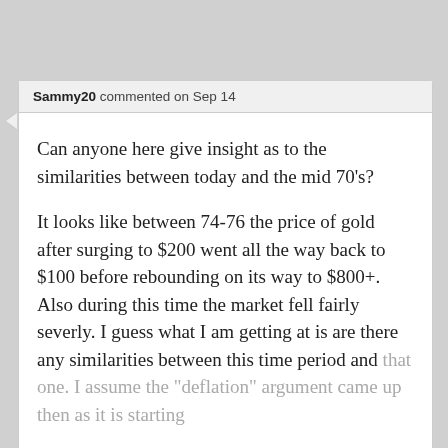Sammy20 commented on Sep 14
Can anyone here give insight as to the similarities between today and the mid 70's?
It looks like between 74-76 the price of gold after surging to $200 went all the way back to $100 before rebounding on its way to $800+. Also during this time the market fell fairly severly. I guess what I am getting at is are there any similarities between this time period and that one. I assume the "deflation" argument came up then as it is starting